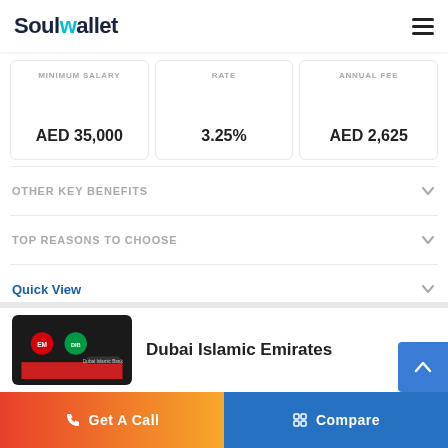SoulWallet
| MINIMUM SALARY | RATE | ANNUAL FEE |
| --- | --- | --- |
| AED 35,000 | 3.25% | AED 2,625 |
OTHER KEY BENEFITS
TOP REASONS TO CHOOSE
Quick View
APPLY NOW
Dubai Islamic Emirates
Get A Call   Compare